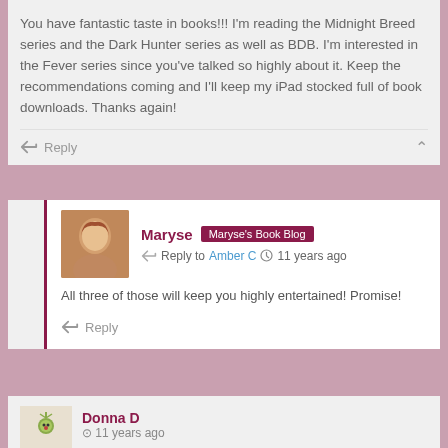You have fantastic taste in books!!! I'm reading the Midnight Breed series and the Dark Hunter series as well as BDB. I'm interested in the Fever series since you've talked so highly about it. Keep the recommendations coming and I'll keep my iPad stocked full of book downloads. Thanks again!
Reply
Maryse · Maryse's Book Blog · Reply to Amber C · 11 years ago
All three of those will keep you highly entertained! Promise!
Reply
Donna D · 11 years ago